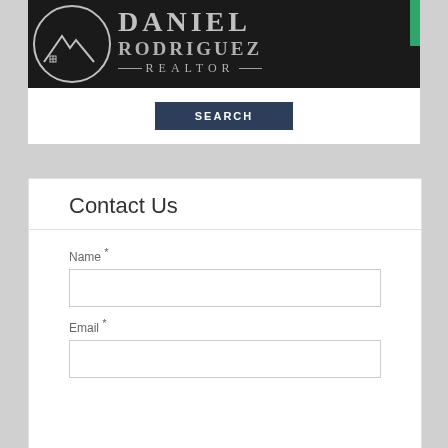[Figure (logo): Daniel Rodriguez Realtor logo banner with circular mountain/house logo on black background, with green hamburger menu button]
SEARCH
Contact Us
Name *
Email *